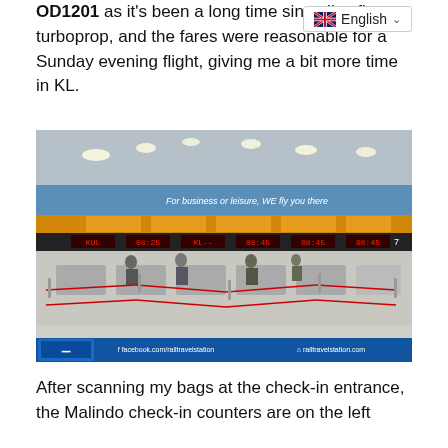OD1201 as it's been a long time since I've flown a turboprop, and the fares were reasonable for a Sunday evening flight, giving me a bit more time in KL.
[Figure (photo): Airport check-in hall photo showing Malindo Air check-in counters with red rope barriers, passengers queuing, LED display boards above counters, and a banner reading 'For business or leisure, WE fly you there'. Bottom bar shows Rail Travel Station branding with facebook.com/railtravelstation and railtravelstation.com]
After scanning my bags at the check-in entrance, the Malindo check-in counters are on the left